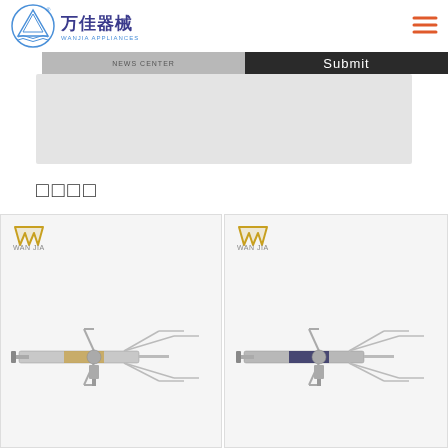万佳器械 WANJIA APPLIANCES
Submit
[Figure (illustration): Gray form/content area box below submit bar]
相关产品
[Figure (photo): Medical syringe/injector device product image with Wanjia logo, left product card]
[Figure (photo): Medical syringe/injector device product image with Wanjia logo, right product card]